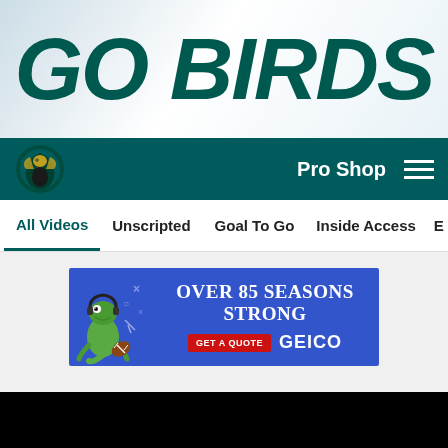GO BIRDS
Philadelphia Eagles navigation bar with logo, Pro Shop link, and hamburger menu
All Videos | Unscripted | Goal To Go | Inside Access | Exclusive In...
[Figure (illustration): GEICO advertisement banner: blue background, GEICO gecko mascot on left, text 'OVER 85 SEASONS STRONG', 'GET A QUOTE' red button, GEICO logo]
[Figure (screenshot): Black video player area]